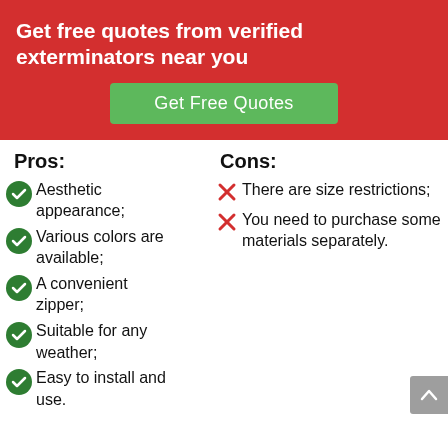Get free quotes from verified exterminators near you
[Figure (other): Green button labeled 'Get Free Quotes']
Pros:
Cons:
Aesthetic appearance;
There are size restrictions;
Various colors are available;
You need to purchase some materials separately.
A convenient zipper;
Suitable for any weather;
Easy to install and use.